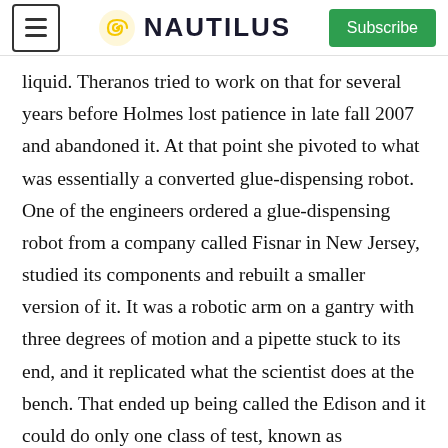NAUTILUS | Subscribe
liquid. Theranos tried to work on that for several years before Holmes lost patience in late fall 2007 and abandoned it. At that point she pivoted to what was essentially a converted glue-dispensing robot. One of the engineers ordered a glue-dispensing robot from a company called Fisnar in New Jersey, studied its components and rebuilt a smaller version of it. It was a robotic arm on a gantry with three degrees of motion and a pipette stuck to its end, and it replicated what the scientist does at the bench. That ended up being called the Edison and it could do only one class of test, known as immunoassays. It was also error-prone. The third iteration of the technology was the minilab, which Holmes wanted